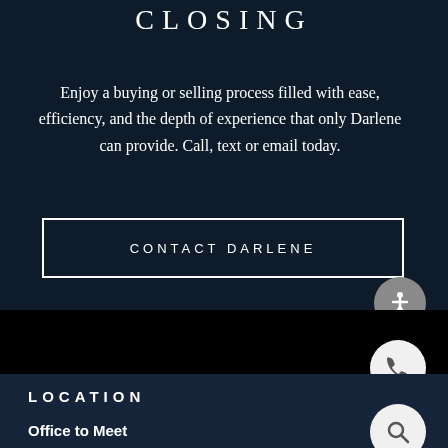CLOSING
Enjoy a buying or selling process filled with ease, efficiency, and the depth of experience that only Darlene can provide. Call, text or email today.
CONTACT DARLENE
LOCATION
Office to Meet